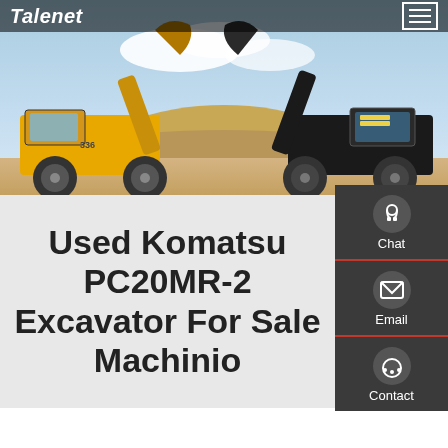Talenet
[Figure (photo): Two large yellow wheel loaders facing each other with raised buckets, parked on a sandy construction site with blue sky background.]
Used Komatsu PC20MR-2 Excavator For Sale Machinio
[Figure (other): Side panel with Chat, Email, and Contact icons on dark background.]